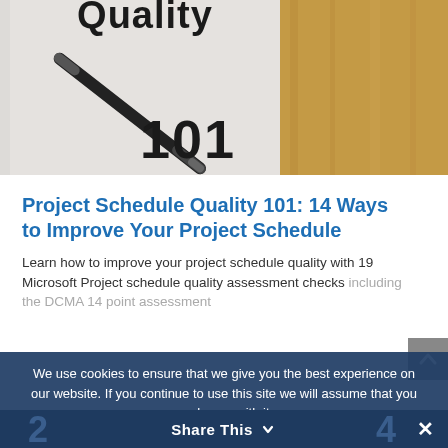[Figure (photo): Hero image showing a pen on paper with the word 'Quality' and '101' visible, with a wooden desk surface in the background.]
Project Schedule Quality 101: 14 Ways to Improve Your Project Schedule
Learn how to improve your project schedule quality with 19 Microsoft Project schedule quality assessment checks including the DCMA 14 point assessment
We use cookies to ensure that we give you the best experience on our website. If you continue to use this site we will assume that you are happy with it.
Share This